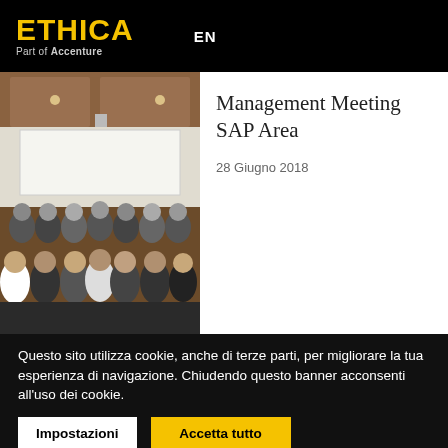ETHICA Part of Accenture | EN
[Figure (photo): Group photo of many professionals posing together in a conference room with wooden ceiling and projection screen in the background.]
Management Meeting SAP Area
28 Giugno 2018
Questo sito utilizza cookie, anche di terze parti, per migliorare la tua esperienza di navigazione. Chiudendo questo banner acconsenti all'uso dei cookie.
Impostazioni | Accetta tutto